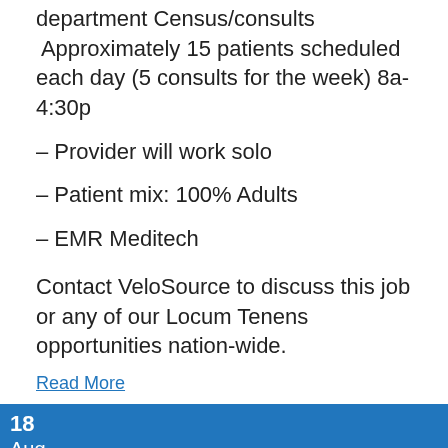department Census/consults  Approximately 15 patients scheduled each day (5 consults for the week) 8a-4:30p
– Provider will work solo
– Patient mix: 100% Adults
– EMR Meditech
Contact VeloSource to discuss this job or any of our Locum Tenens opportunities nation-wide.
Read More
18
Aug
LOCUM TENENS CRNA OPPORTUNITY IN SOUTHERN NEBRASKA-$180/HR
By: